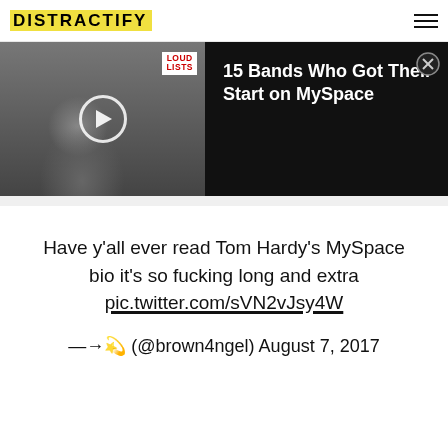DISTRACTIFY
[Figure (screenshot): Video thumbnail showing a tattooed man screaming, with a LOUD LISTS badge in the top right corner, a play button overlay, and a title '15 Bands Who Got Their Start on MySpace' on a black background to the right. A close (X) button appears in the top right of the video banner.]
Have y'all ever read Tom Hardy's MySpace bio it's so fucking long and extra pic.twitter.com/sVN2vJsy4W
—→🌟✨ (@brown4ngel) August 7, 2017